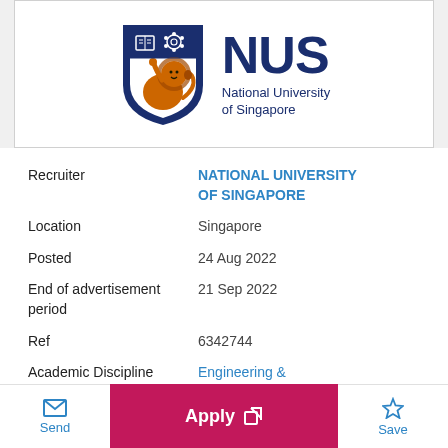[Figure (logo): NUS National University of Singapore logo — shield with book, gear, and lion; bold NUS letters in navy; subtitle in navy]
| Field | Value |
| --- | --- |
| Recruiter | NATIONAL UNIVERSITY OF SINGAPORE |
| Location | Singapore |
| Posted | 24 Aug 2022 |
| End of advertisement period | 21 Sep 2022 |
| Ref | 6342744 |
| Academic Discipline | Engineering & Technology, Computer |
Send   Apply   Save